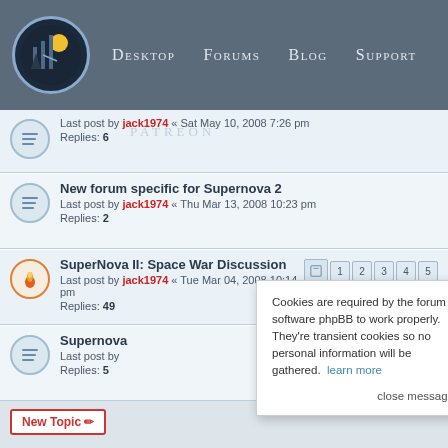Winter Wolves — Desktop | Forums | Blog | Support
Last post by jack1974 « Sat May 10, 2008 7:26 pm — Replies: 6
New forum specific for Supernova 2 — Last post by jack1974 « Thu Mar 13, 2008 10:23 pm — Replies: 2
SuperNova II: Space War Discussion — Last post by jack1974 « Tue Mar 04, 2008 10:14 pm — Replies: 49
Supernova... — Last post by... — Replies: 5
[Figure (screenshot): Cookie consent popup overlay: 'Cookies are required by the forum software phpBB to work properly. They're transient cookies so no personal information will be gathered. learn more' with 'close message' link]
16 topics • Page 1 of 1
WHO IS ONLINE
Users browsing this forum: No registered users and 1 guest
FORUM PERMISSIONS
You cannot post new topics in this forum
You cannot reply to topics in this forum